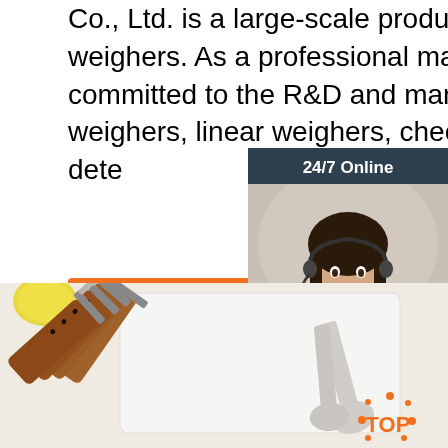Co., Ltd. is a large-scale production base for multi-head weighers. As a professional manufacturer, we are committed to the R&D and manufacturing of multi-head weighers, linear weighers, check weighers, metal detectors, high speed and high accuracy.
Get Price
[Figure (infographic): 24/7 Online chat widget with a female customer service agent wearing a headset, dark blue background with orange QUOTATION button and 'Click here for free chat!' text]
[Figure (photo): Kitchen utensils — wooden-handled knives/spatulas and stainless steel spoons on a white surface with a lemon visible at top left. Orange TOP badge at bottom right.]